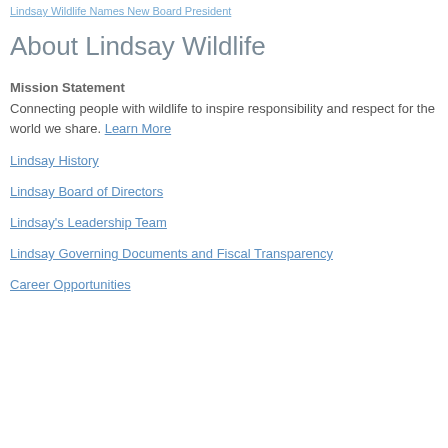Lindsay Wildlife Names New Board President
About Lindsay Wildlife
Mission Statement
Connecting people with wildlife to inspire responsibility and respect for the world we share. Learn More
Lindsay History
Lindsay Board of Directors
Lindsay's Leadership Team
Lindsay Governing Documents and Fiscal Transparency
Career Opportunities